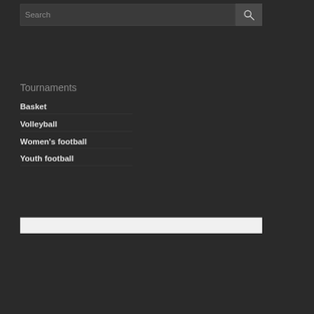[Figure (screenshot): Search bar with text input field showing placeholder 'Search' and a search button with magnifying glass icon]
Tournaments
Basket
Volleyball
Women's football
Youth football
[Figure (other): White horizontal bar at the bottom of the page]